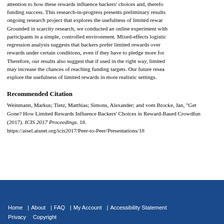attention to how these rewards influence backers' choices and, therefore, funding success. This research-in-progress presents preliminary results of an ongoing research project that explores the usefulness of limited rewards. Grounded in scarcity research, we conducted an online experiment with participants in a simple, controlled environment. Mixed-effects logistic regression analysis suggests that backers prefer limited rewards over other rewards under certain conditions, even if they have to pledge more for them. Therefore, our results also suggest that if used in the right way, limited rewards may increase the chances of reaching funding targets. Our future research will explore the usefulness of limited rewards in more realistic settings.
Recommended Citation
Weinmann, Markus; Tietz, Matthias; Simons, Alexander; and vom Brocke, Jan, "Get Gone? How Limited Rewards Influence Backers' Choices in Reward-Based Crowdfunding" (2017). ICIS 2017 Proceedings. 18. https://aisel.aisnet.org/icis2017/Peer-to-Peer/Presentations/18
Home | About | FAQ | My Account | Accessibility Statement Privacy Copyright